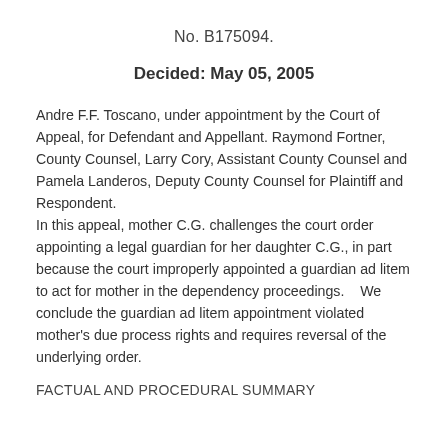No.  B175094.
Decided: May 05, 2005
Andre F.F. Toscano, under appointment by the Court of Appeal, for Defendant and Appellant. Raymond Fortner, County Counsel, Larry Cory, Assistant County Counsel and Pamela Landeros, Deputy County Counsel for Plaintiff and Respondent. In this appeal, mother C.G. challenges the court order appointing a legal guardian for her daughter C.G., in part because the court improperly appointed a guardian ad litem to act for mother in the dependency proceedings.    We conclude the guardian ad litem appointment violated mother's due process rights and requires reversal of the underlying order.
FACTUAL AND PROCEDURAL SUMMARY